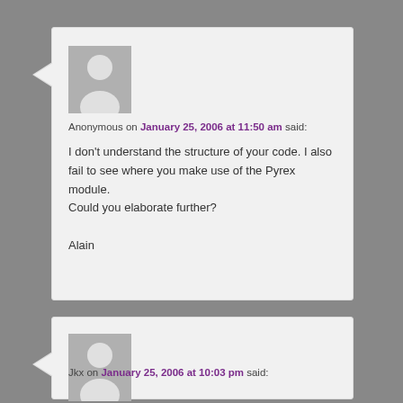Anonymous on January 25, 2006 at 11:50 am said:
I don't understand the structure of your code. I also fail to see where you make use of the Pyrex module.
Could you elaborate further?

Alain
Jkx on January 25, 2006 at 10:03 pm said: